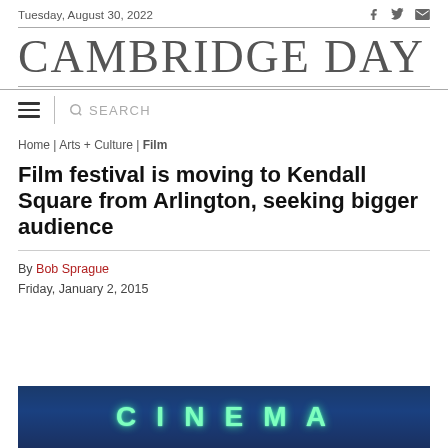Tuesday, August 30, 2022
CAMBRIDGE DAY
SEARCH
Home | Arts + Culture | Film
Film festival is moving to Kendall Square from Arlington, seeking bigger audience
By Bob Sprague
Friday, January 2, 2015
[Figure (photo): Cinema sign with teal/green illuminated letters on a dark blue background reading CINEMA]